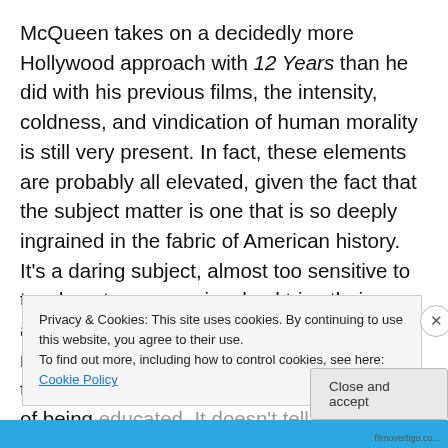McQueen takes on a decidedly more Hollywood approach with 12 Years than he did with his previous films, the intensity, coldness, and vindication of human morality is still very present. In fact, these elements are probably all elevated, given the fact that the subject matter is one that is so deeply ingrained in the fabric of American history. It's a daring subject, almost too sensitive to touch, yet everyone involved tries their absolute hardest to steer it away from the risk of shameful exploitation. It doesn't treat the audience like oblivious voyeurs in need of being educated. It doesn't tell us what we don't already know...
Privacy & Cookies: This site uses cookies. By continuing to use this website, you agree to their use.
To find out more, including how to control cookies, see here: Cookie Policy
Close and accept